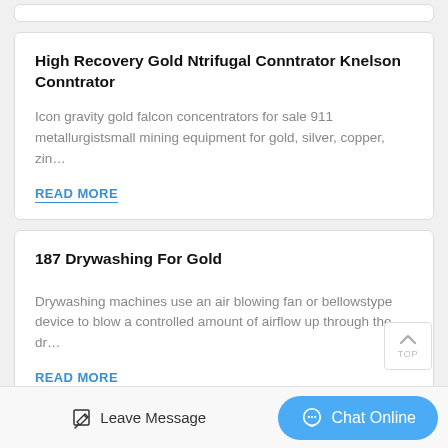High Recovery Gold Ntrifugal Conntrator Knelson Conntrator
Icon gravity gold falcon concentrators for sale 911 metallurgistsmall mining equipment for gold, silver, copper, zin…
READ MORE
187 Drywashing For Gold
Drywashing machines use an air blowing fan or bellowstype device to blow a controlled amount of airflow up through the dr…
READ MORE
Leave Message  Chat Online